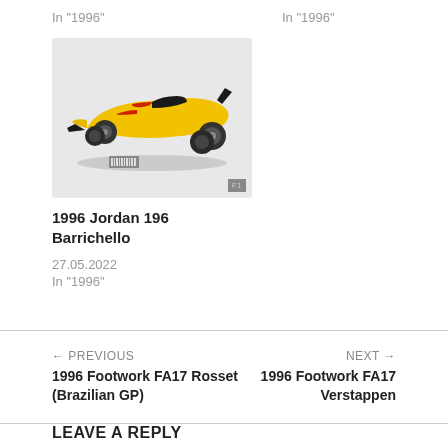In "1996"
In "1996"
[Figure (photo): Yellow 1996 Jordan 196 Barrichello Formula 1 car model on a light grey surface, viewed from a three-quarter angle]
1996 Jordan 196 Barrichello
27.05.2022
In "1996"
← PREVIOUS
1996 Footwork FA17 Rosset (Brazilian GP)
NEXT →
1996 Footwork FA17 Verstappen
LEAVE A REPLY